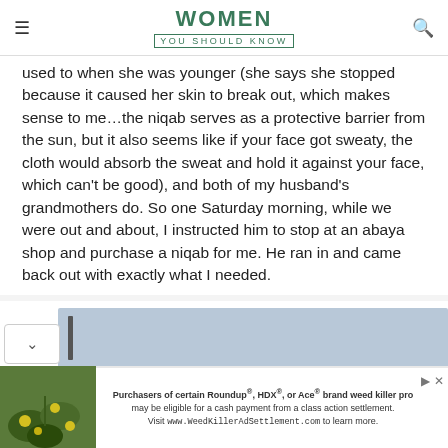WOMEN YOU SHOULD KNOW
used to when she was younger (she says she stopped because it caused her skin to break out, which makes sense to me…the niqab serves as a protective barrier from the sun, but it also seems like if your face got sweaty, the cloth would absorb the sweat and hold it against your face, which can't be good), and both of my husband's grandmothers do. So one Saturday morning, while we were out and about, I instructed him to stop at an abaya shop and purchase a niqab for me. He ran in and came back out with exactly what I needed.
[Figure (photo): Light blue/grey image area with a chevron/scroll button on the left side and a cursor indicator]
[Figure (photo): Advertisement banner showing green plant image on the left and text about Roundup, HDX, or Ace brand weed killer class action settlement]
Purchasers of certain Roundup®, HDX®, or Ace® brand weed killer products may be eligible for a cash payment from a class action settlement. Visit www.WeedKillerAdSettlement.com to learn more.